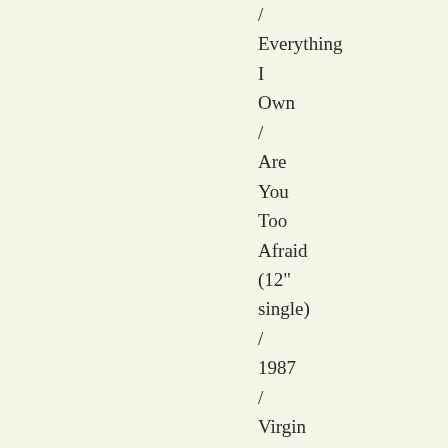/ Everything I Own / Are You Too Afraid (12" single) / 1987 / Virgin BOY-10212

VG++ / NM / $10.00

U.K. release